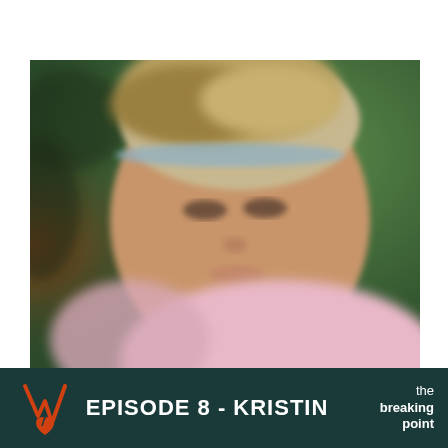[Figure (photo): A blurred photo of a smiling blonde woman wearing a light blue headband and pink top, with a green blurred background. She appears to be outdoors.]
EPISODE 8 - KRISTIN
the breaking point